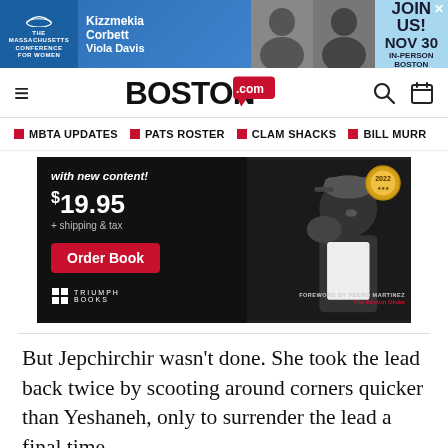[Figure (infographic): Ad banner for Massachusetts Conference for Women featuring Kizzmekia Corbett and Viola Davis. Join us! Nov 30 In-Person Boston.]
BOSTON.COM
MBTA UPDATES
PATS ROSTER
CLAM SHACKS
BILL MURR
[Figure (infographic): Book advertisement: 'with new content!' $19.95 + shipping & tax. Order Book button. Triumph Books logo. 2022 medal. Photo of David Ortiz. Foreword by Pedro Martinez. The Boston Globe.]
But Jepchirchir wasn't done. She took the lead back twice by scooting around corners quicker than Yeshaneh, only to surrender the lead a final time.